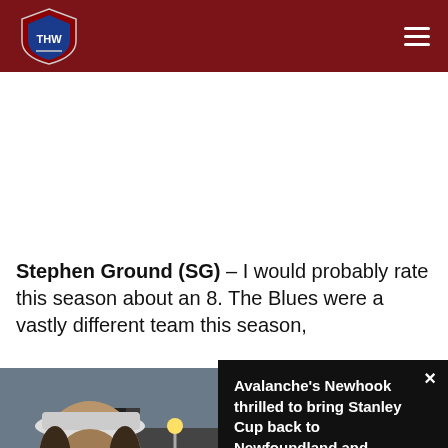THW Hockey Writers — site header with logo and navigation
Stephen Ground (SG) – I would probably rate this season about an 8. The Blues were a vastly different team this season,
[Figure (photo): Man wearing a cap being interviewed outdoors, crowd and urban background visible]
Avalanche's Newhook thrilled to bring Stanley Cup back to Newfoundland and Labrador